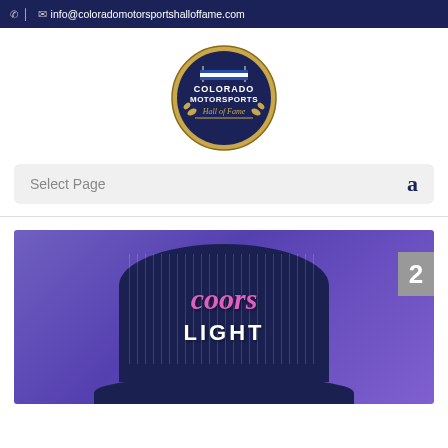✆ ✉ info@coloradomotorsportshalloffame.com
[Figure (logo): Colorado Motorsports Hall of Fame circular logo with checkered flags and laurel wreath]
Select Page  a
[Figure (photo): Navy blue Coors Light trucker hat on a purple background, with pink Coors script and white LIGHT text]